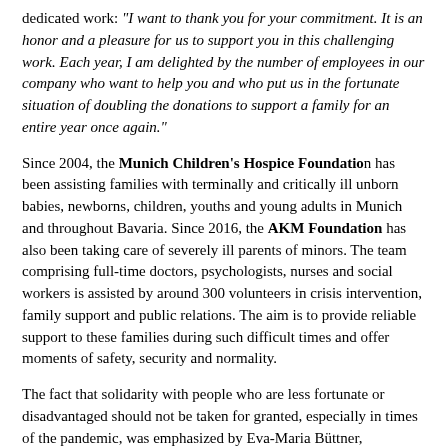dedicated work: "I want to thank you for your commitment. It is an honor and a pleasure for us to support you in this challenging work. Each year, I am delighted by the number of employees in our company who want to help you and who put us in the fortunate situation of doubling the donations to support a family for an entire year once again."
Since 2004, the Munich Children's Hospice Foundation has been assisting families with terminally and critically ill unborn babies, newborns, children, youths and young adults in Munich and throughout Bavaria. Since 2016, the AKM Foundation has also been taking care of severely ill parents of minors. The team comprising full-time doctors, psychologists, nurses and social workers is assisted by around 300 volunteers in crisis intervention, family support and public relations. The aim is to provide reliable support to these families during such difficult times and offer moments of safety, security and normality.
The fact that solidarity with people who are less fortunate or disadvantaged should not be taken for granted, especially in times of the pandemic, was emphasized by Eva-Maria Büttner, fundraiser for the AKM Foundation. She thanked Travian Games for this donation: "At the AKM Foundation, we are more than grateful to all the staff and executives of Travian Games GmbH for once again taking on a family sponsorship this year,